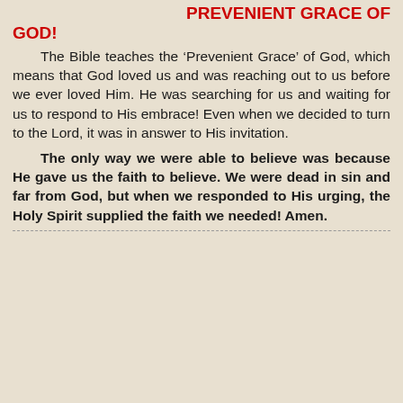PREVENIENT GRACE OF GOD!
The Bible teaches the 'Prevenient Grace' of God, which means that God loved us and was reaching out to us before we ever loved Him. He was searching for us and waiting for us to respond to His embrace! Even when we decided to turn to the Lord, it was in answer to His invitation.
The only way we were able to believe was because He gave us the faith to believe. We were dead in sin and far from God, but when we responded to His urging, the Holy Spirit supplied the faith we needed! Amen.